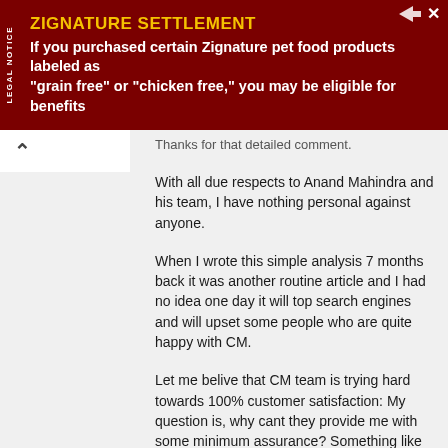[Figure (infographic): Legal notice advertisement banner for Zignature Settlement in dark red/maroon background with yellow title text and white body text. Title: ZIGNATURE SETTLEMENT. Body: If you purchased certain Zignature pet food products labeled as "grain free" or "chicken free," you may be eligible for benefits. Vertical 'LEGAL NOTICE' sidebar on left.]
Thanks for that detailed comment.
With all due respects to Anand Mahindra and his team, I have nothing personal against anyone.
When I wrote this simple analysis 7 months back it was another routine article and I had no idea one day it will top search engines and will upset some people who are quite happy with CM.
Let me belive that CM team is trying hard towards 100% customer satisfaction: My question is, why cant they provide me with some minimum assurance? Something like "If we cant give confirmed booking under so and so conditions we'll compensate you with this this and this". Without that assurance it is like gambling-I may get best holiday experience or I may not get anything at all.
If it can go wrong, chances are that it will go wrong. All I'm looking for is an answer: What do I do if I fail to